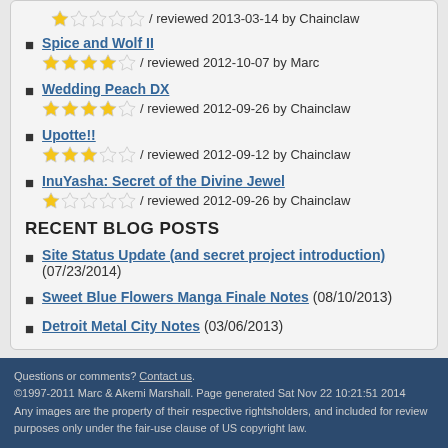Spice and Wolf II / reviewed 2012-10-07 by Marc
Wedding Peach DX / reviewed 2012-09-26 by Chainclaw
Upotte!! / reviewed 2012-09-12 by Chainclaw
InuYasha: Secret of the Divine Jewel / reviewed 2012-09-26 by Chainclaw
RECENT BLOG POSTS
Site Status Update (and secret project introduction) (07/23/2014)
Sweet Blue Flowers Manga Finale Notes (08/10/2013)
Detroit Metal City Notes (03/06/2013)
Questions or comments? Contact us. ©1997-2011 Marc & Akemi Marshall. Page generated Sat Nov 22 10:21:51 2014 Any images are the property of their respective rightsholders, and included for review purposes only under the fair-use clause of US copyright law.